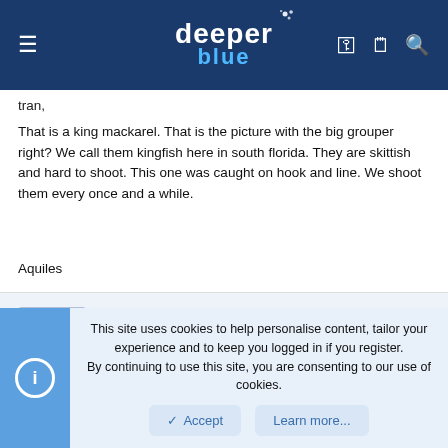[Figure (logo): DeeperBlue website header with hamburger menu, DeeperBlue logo, and icons for key, clipboard, and search]
tran,
That is a king mackarel. That is the picture with the big grouper right? We call them kingfish here in south florida. They are skittish and hard to shoot. This one was caught on hook and line. We shoot them every once and a while.
Aquiles
Jon
Dairyland diver Supporter
This site uses cookies to help personalise content, tailor your experience and to keep you logged in if you register.
By continuing to use this site, you are consenting to our use of cookies.